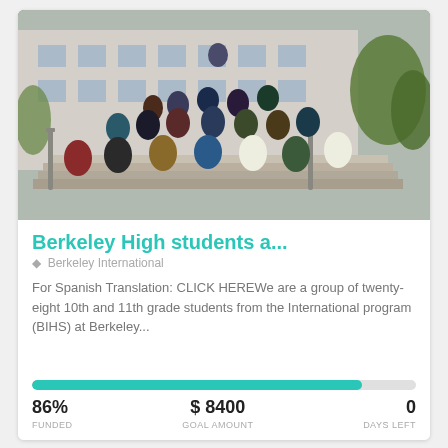[Figure (photo): Group photo of approximately 25-28 high school students posed on outdoor stairs in front of a school building, trees visible in background]
Berkeley High students a...
Berkeley International
For Spanish Translation: CLICK HEREWe are a group of twenty-eight 10th and 11th grade students from the International program (BIHS) at Berkeley...
86% FUNDED   $8400 GOAL AMOUNT   0 DAYS LEFT